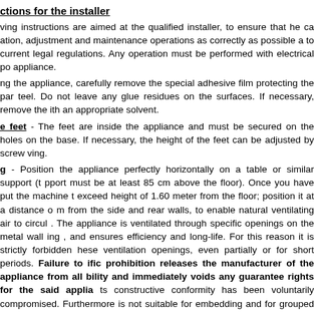ctions for the installer
ving instructions are aimed at the qualified installer, to ensure that he ca ation, adjustment and maintenance operations as correctly as possible a to current legal regulations. Any operation must be performed with electrical po appliance.
ng the appliance, carefully remove the special adhesive film protecting the par teel. Do not leave any glue residues on the surfaces. If necessary, remove the ith an appropriate solvent.
e feet - The feet are inside the appliance and must be secured on the holes on the base. If necessary, the height of the feet can be adjusted by screw ving.
g - Position the appliance perfectly horizontally on a table or similar support (t pport must be at least 85 cm above the floor). Once you have put the machine t exceed height of 1.60 meter from the floor; position it at a distance o m from the side and rear walls, to enable natural ventilating air to circul . The appliance is ventilated through specific openings on the metal wall ing , and ensures efficiency and long-life. For this reason it is strictly forbidden hese ventilation openings, even partially or for short periods. Failure to ific prohibition releases the manufacturer of the appliance from all bility and immediately voids any guarantee rights for the said applia ts constructive conformity has been voluntarily compromised. Furthermore is not suitable for embedding and for grouped positioning with other ide s.
connection - The appliance must be connected to the electrical mains accord legal regulations. Before making the connection, make sure of the following:
voltage and frequency values of the power supply system match the values on t chnical data" plate affixed on the appliance;